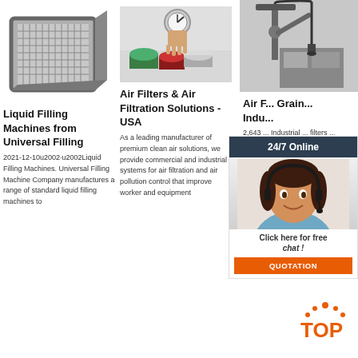[Figure (photo): HEPA air filter box with metal frame, pleated filter media]
Liquid Filling Machines from Universal Filling
2021-12-10u2002·u2002Liquid Filling Machines. Universal Filling Machine Company manufactures a range of standard liquid filling machines to
[Figure (photo): Hand holding gauge over colored pigment cups]
Air Filters & Air Filtration Solutions - USA
As a leading manufacturer of premium clean air solutions, we provide commercial and industrial systems for air filtration and air pollution control that improve worker and equipment
[Figure (photo): Industrial machine with robotic arm]
Air F... Grain... Indu...
2,643 ... Industrial ... filters ... commercial HVAC systems to remove airborne contaminants from the air stream. This
[Figure (infographic): 24/7 Online chat widget with customer service agent photo, Click here for free chat, QUOTATION button]
[Figure (logo): TOP badge with orange dots and orange TOP text]